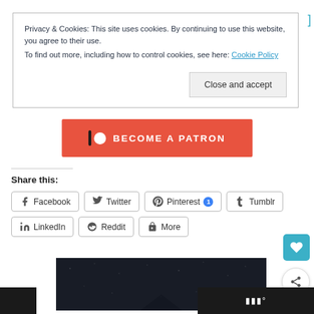Privacy & Cookies: This site uses cookies. By continuing to use this website, you agree to their use.
To find out more, including how to control cookies, see here: Cookie Policy
Close and accept
[Figure (other): Patreon 'Become a Patron' button in orange/red with Patreon logo icon]
Share this:
Facebook
Twitter
Pinterest 1
Tumblr
LinkedIn
Reddit
More
[Figure (photo): Dark night sky image]